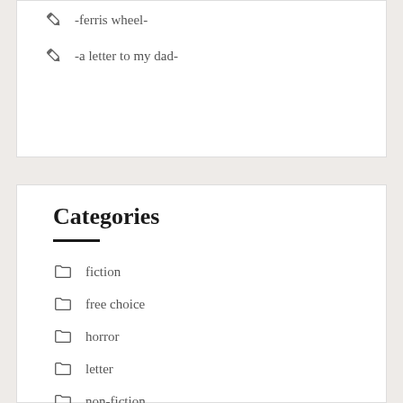-ferris wheel-
-a letter to my dad-
Categories
fiction
free choice
horror
letter
non-fiction
poetry
random
short story